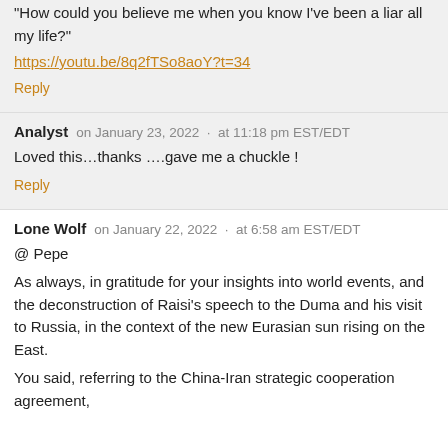“How could you believe me when you know I’ve been a liar all my life?”
https://youtu.be/8q2fTSo8aoY?t=34
Reply
Analyst  on January 23, 2022 · at 11:18 pm EST/EDT
Loved this…thanks ….gave me a chuckle !
Reply
Lone Wolf  on January 22, 2022 · at 6:58 am EST/EDT
@ Pepe
As always, in gratitude for your insights into world events, and the deconstruction of Raisi’s speech to the Duma and his visit to Russia, in the context of the new Eurasian sun rising on the East.
You said, referring to the China-Iran strategic cooperation agreement,